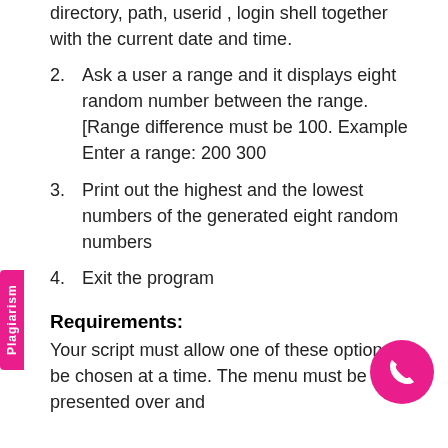directory, path, userid , login shell together with the current date and time.
2. Ask a user a range and it displays eight random number between the range. [Range difference must be 100. Example Enter a range: 200 300
3. Print out the highest and the lowest numbers of the generated eight random numbers
4. Exit the program
Requirements:
Your script must allow one of these options to be chosen at a time. The menu must be presented over and